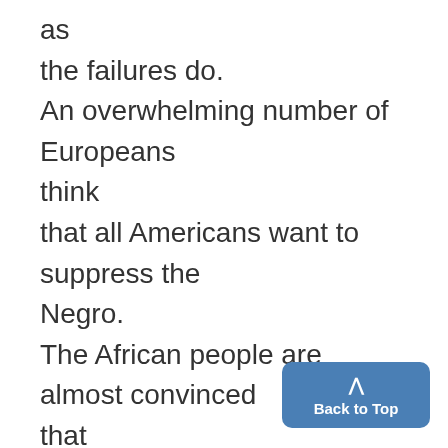as the failures do. An overwhelming number of Europeans think that all Americans want to suppress the Negro. The African people are almost convinced that Americans hate dark people and will do noth- ing to eliminate the oppression of the Negro in this country. It is absurd to expect any coop